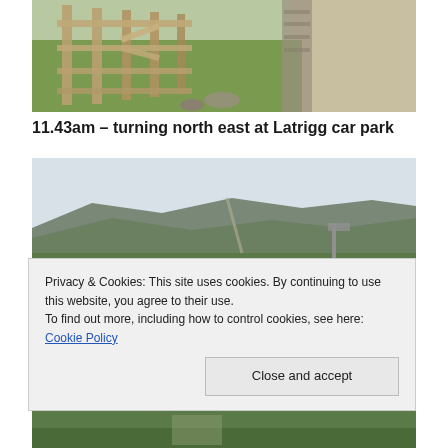[Figure (photo): Photo of a wooden fence/stile with stone wall and gravel path, green grass, countryside setting]
11.43am – turning north east at Latrigg car park
[Figure (photo): Photo of rolling hills/moorland with a pale sky, green slopes and a signpost visible]
Privacy & Cookies: This site uses cookies. By continuing to use this website, you agree to their use.
To find out more, including how to control cookies, see here: Cookie Policy
[Figure (photo): Partial photo of countryside/green grass path at bottom of page]